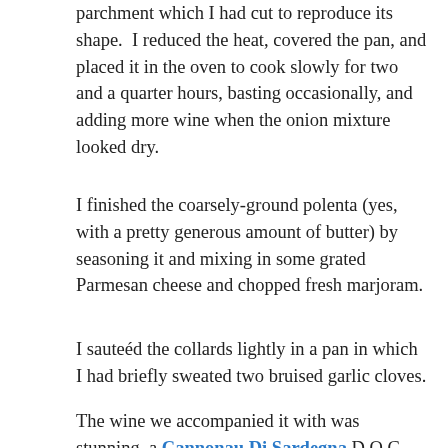parchment which I had cut to reproduce its shape. I reduced the heat, covered the pan, and placed it in the oven to cook slowly for two and a quarter hours, basting occasionally, and adding more wine when the onion mixture looked dry.
I finished the coarsely-ground polenta (yes, with a pretty generous amount of butter) by seasoning it and mixing in some grated Parmesan cheese and chopped fresh marjoram.
I sauteéd the collards lightly in a pan in which I had briefly sweated two bruised garlic cloves.
The wine we accompanied it with was stunning, a Cannonau Di Sardegna D.O.C. 2008, the pairing Barry's inspired choice.